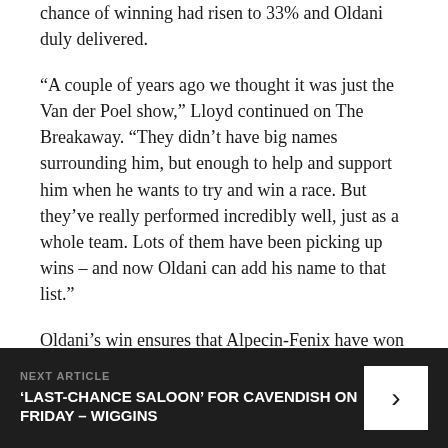chance of winning had risen to 33% and Oldani duly delivered.
“A couple of years ago we thought it was just the Van der Poel show,” Lloyd continued on The Breakaway. “They didn’t have big names surrounding him, but enough to help and support him when he wants to try and win a race. But they’ve really performed incredibly well, just as a whole team. Lots of them have been picking up wins – and now Oldani can add his name to that list.”
Oldani’s win ensures that Alpecin-Fenix have won two stages on each of the last three Grand Tours, with Tim Merlier adding to Van der Poel’s win in last year’s Tour
NEXT ARTICLE
‘LAST-CHANCE SALOON’ FOR CAVENDISH ON FRIDAY – WIGGINS